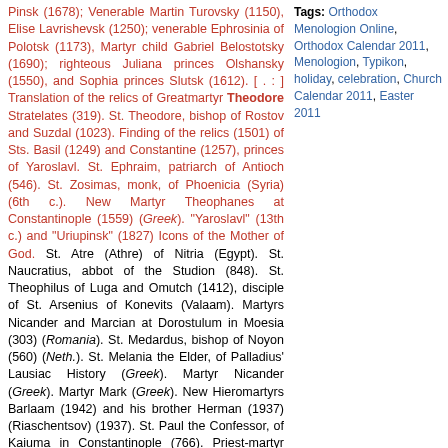Pinsk (1678); Venerable Martin Turovsky (1150), Elise Lavrishevsk (1250); venerable Ephrosinia of Polotsk (1173), Martyr child Gabriel Belostotsky (1690); righteous Juliana princes Olshansky (1550), and Sophia princes Slutsk (1612). [ . : ] Translation of the relics of Greatmartyr Theodore Stratelates (319). St. Theodore, bishop of Rostov and Suzdal (1023). Finding of the relics (1501) of Sts. Basil (1249) and Constantine (1257), princes of Yaroslavl. St. Ephraim, patriarch of Antioch (546). St. Zosimas, monk, of Phoenicia (Syria) (6th c.). New Martyr Theophanes at Constantinople (1559) (Greek). "Yaroslavl" (13th c.) and "Uriupinsk" (1827) Icons of the Mother of God. St. Atre (Athre) of Nitria (Egypt). St. Naucratius, abbot of the Studion (848). St. Theophilus of Luga and Omutch (1412), disciple of St. Arsenius of Konevits (Valaam). Martyrs Nicander and Marcian at Dorostulum in Moesia (303) (Romania). St. Medardus, bishop of Noyon (560) (Neth.). St. Melania the Elder, of Palladius' Lausiac History (Greek). Martyr Nicander (Greek). Martyr Mark (Greek). New Hieromartyrs Barlaam (1942) and his brother Herman (1937) (Riaschentsov) (1937). St. Paul the Confessor, of Kaiuma in Constantinople (766). Priest-martyr Theodore of Kvelta, Georgia (1609) (Georgia). Synaxis of the Church of the Cross at Mtskheta, Georgia (Georgia).
Tags: Orthodox Menologion Online, Orthodox Calendar 2011, Menologion, Typikon, holiday, celebration, Church Calendar 2011, Easter 2011
View in russian